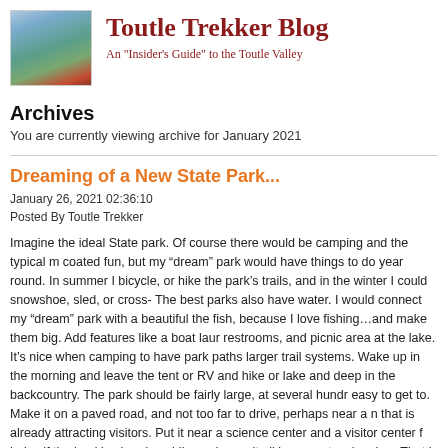[Figure (photo): Mountain landscape photo showing a volcanic peak with water and green slopes in the foreground]
Toutle Trekker Blog
An "Insider's Guide" to the Toutle Valley
Archives
You are currently viewing archive for January 2021
Dreaming of a New State Park...
January 26, 2021 02:36:10
Posted By Toutle Trekker
Imagine the ideal State park.  Of course there would be camping and the typical m coated fun, but my “dream” park would have things to do year round.  In summer I bicycle, or hike the park’s trails, and in the winter I could snowshoe, sled, or cross- The best parks also have water.  I would connect my “dream” park with a beautiful the fish, because I love fishing…and make them big.  Add features like a boat laur restrooms, and picnic area at the lake.  It’s nice when camping to have park paths larger trail systems.  Wake up in the morning and leave the tent or RV and hike or lake and deep in the backcountry.  The park should be fairly large, at several hundr easy to get to.  Make it on a paved road, and not too far to drive, perhaps near a n that is already attracting visitors.  Put it near a science center and a visitor center f helps if the land is already public, and wrap it all in a spectacular view.  That is my …and here it is: